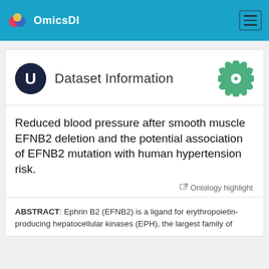OmicsDI
Dataset Information
Reduced blood pressure after smooth muscle EFNB2 deletion and the potential association of EFNB2 mutation with human hypertension risk.
Ontology highlight
ABSTRACT: Ephrin B2 (EFNB2) is a ligand for erythropoietin-producing hepatocellular kinases (EPH), the largest family of